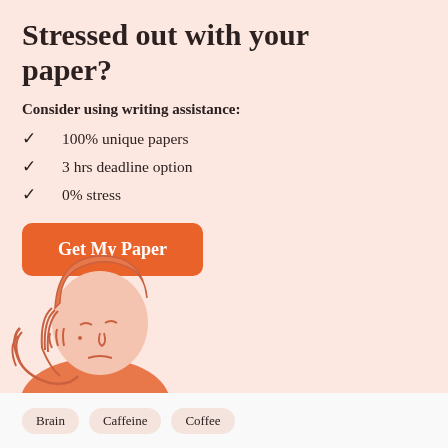Stressed out with your paper?
Consider using writing assistance:
100% unique papers
3 hrs deadline option
0% stress
[Figure (illustration): Line drawing of a stressed person holding their head in their hands, wearing a salmon/orange colored top, against a peach background.]
Brain   Caffeine   Coffee